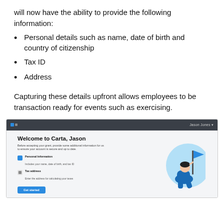will now have the ability to provide the following information:
Personal details such as name, date of birth and country of citizenship
Tax ID
Address
Capturing these details upfront allows employees to be transaction ready for events such as exercising.
[Figure (screenshot): Screenshot of Carta onboarding screen showing 'Welcome to Carta, Jason' with fields for Personal Information and Tax address, and a Get Started button. Dark top navigation bar with Carta logo and 'Jason Jones' user name.]